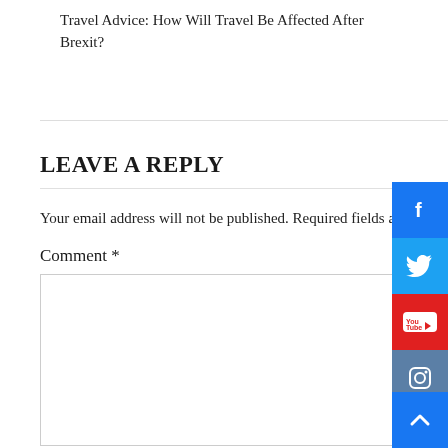Travel Advice: How Will Travel Be Affected After Brexit?
LEAVE A REPLY
Your email address will not be published. Required fields are marked *
Comment *